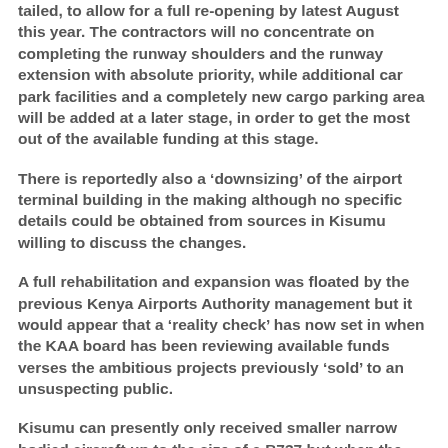tailed, to allow for a full re-opening by latest August this year. The contractors will no concentrate on completing the runway shoulders and the runway extension with absolute priority, while additional car park facilities and a completely new cargo parking area will be added at a later stage, in order to get the most out of the available funding at this stage.
There is reportedly also a ‘downsizing’ of the airport terminal building in the making although no specific details could be obtained from sources in Kisumu willing to discuss the changes.
A full rehabilitation and expansion was floated by the previous Kenya Airports Authority management but it would appear that a ‘reality check’ has now set in when the KAA board has been reviewing available funds verses the ambitious projects previously ‘sold’ to an unsuspecting public.
Kisumu can presently only received smaller narrow bodied aircraft up to the size of a B737 but when the runway expansion is completed wide bodied aircraft up to the size of a B767 or similar can land and take off from the lakeside airport without restrictions.